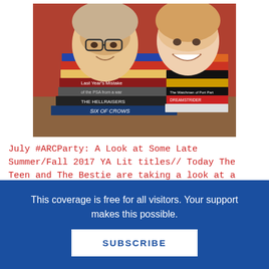[Figure (photo): Two young girls smiling, leaning over two large stacks of books. Book titles visible include 'A Night Divided', 'Six of Crows', 'HELLRAISERS', 'Last Year's Mistake', 'The Watchmen of Port Part', 'DREAMSTRIDER'.]
July #ARCParty: A Look at Some Late Summer/Fall 2017 YA Lit titles// Today The Teen and The Bestie are taking a look at a
This coverage is free for all visitors. Your support makes this possible.
SUBSCRIBE